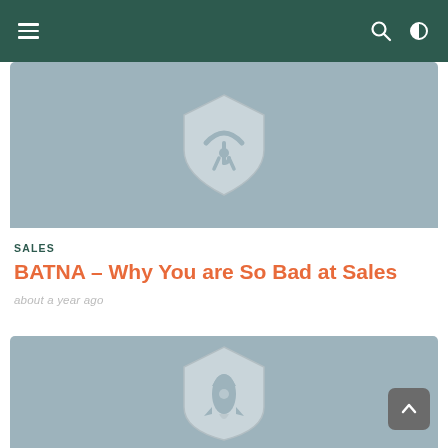Navigation header with hamburger menu, search icon, and dark mode toggle
[Figure (illustration): Card image with gray-blue background featuring a shield icon with umbrella/person graphic]
SALES
BATNA – Why You are So Bad at Sales
about a year ago
[Figure (illustration): Card image with gray-blue background featuring a shield icon with rocket graphic]